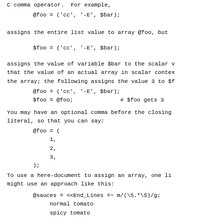C comma operator.  For example,
@foo = ('cc', '-E', $bar);
assigns the entire list value to array @foo, but
$foo = ('cc', '-E', $bar);
assigns the value of variable $bar to the scalar v
that the value of an actual array in scalar contex
the array; the following assigns the value 3 to $f
@foo = ('cc', '-E', $bar);
$foo = @foo;              # $foo gets 3
You may have an optional comma before the closing
literal, so that you can say:
@foo = (
     1,
     2,
     3,
);
To use a here-document to assign an array, one li
might use an approach like this:
@sauces = <<End_Lines =~ m/(\S.*\S)/g;
     normal tomato
     spicy tomato